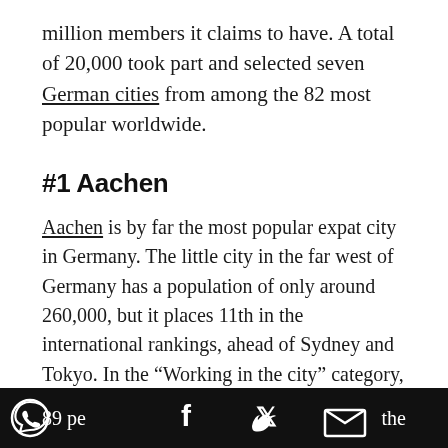million members it claims to have. A total of 20,000 took part and selected seven German cities from among the 82 most popular worldwide.
#1 Aachen
Aachen is by far the most popular expat city in Germany. The little city in the far west of Germany has a population of only around 260,000, but it places 11th in the international rankings, ahead of Sydney and Tokyo. In the “Working in the city” category, which covers jobs and careers, job security and work-life balance, Aachen actually came absolutely top worldwide. With a quota of 89 pe… the
[Figure (other): Social media share bar at the bottom with Facebook, Twitter, Email, and WhatsApp icons on a black background]